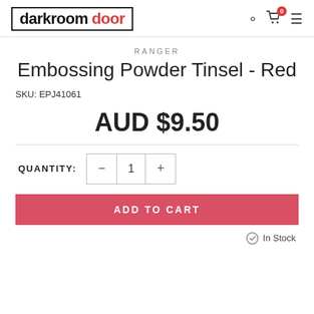[Figure (logo): Darkroom Door logo in black text with 'door' in red, inside a black border rectangle]
RANGER
Embossing Powder Tinsel - Red
SKU: EPJ41061
AUD $9.50
QUANTITY: 1
ADD TO CART
In Stock